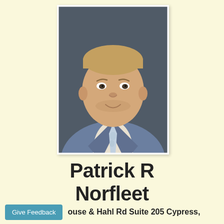[Figure (photo): Professional headshot of Patrick R Norfleet, a man in a blue suit and patterned tie, against a dark background]
Patrick R Norfleet
ouse & Hahl Rd Suite 205 Cypress,